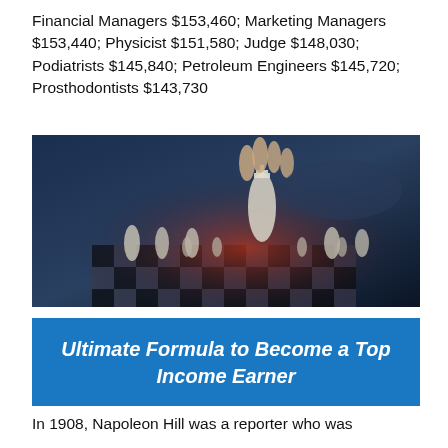Financial Managers $153,460; Marketing Managers $153,440; Physicist $151,580; Judge $148,030; Podiatrists $145,840; Petroleum Engineers $145,720; Prosthodontists $143,730
[Figure (photo): A hand moving a chess king piece on a chess board, dramatic blue and red lighting, close-up shot.]
Ultimate Formula to Become a Top Income Earner
In 1908, Napoleon Hill was a reporter who was